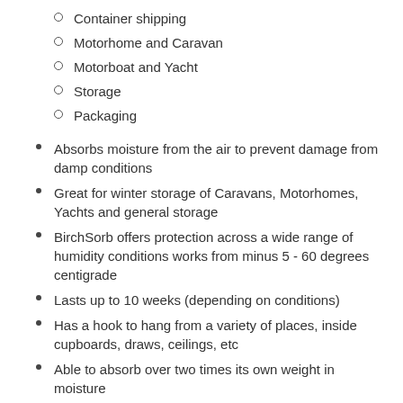Container shipping
Motorhome and Caravan
Motorboat and Yacht
Storage
Packaging
Absorbs moisture from the air to prevent damage from damp conditions
Great for winter storage of Caravans, Motorhomes, Yachts and general storage
BirchSorb offers protection across a wide range of humidity conditions works from minus 5  - 60 degrees centigrade
Lasts up to 10 weeks (depending on conditions)
Has a hook to hang from a variety of places, inside cupboards, draws, ceilings, etc
Able to absorb over two times its own weight in moisture
Non-leak and moisture "lock-in" ensuring no re-release